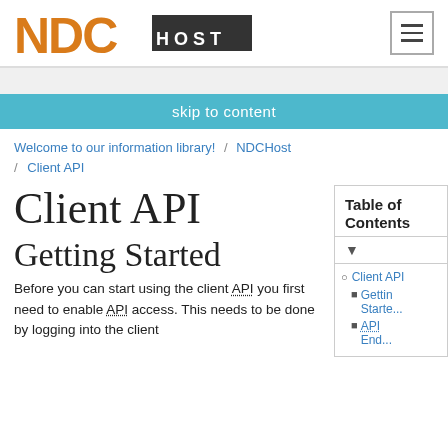[Figure (logo): NDCHost logo: orange 'NDC' lettering with black 'HOST' text on dark background]
skip to content
Welcome to our information library! / NDCHost / Client API
Client API
Getting Started
Before you can start using the client API you first need to enable API access. This needs to be done by logging into the client
Table of Contents
Client API
Getting Started
API End...